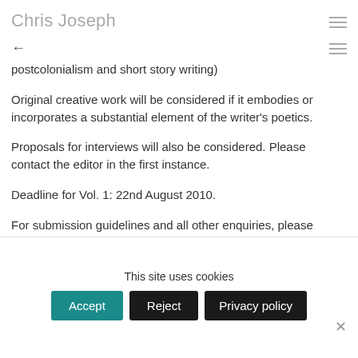Chris Joseph
postcolonialism and short story writing)
Original creative work will be considered if it embodies or incorporates a substantial element of the writer's poetics.
Proposals for interviews will also be considered. Please contact the editor in the first instance.
Deadline for Vol. 1: 22nd August 2010.
For submission guidelines and all other enquiries, please contact the Principal Editor, Ailsa Cox, coxa@edgehill.ac.uk.
This site uses cookies